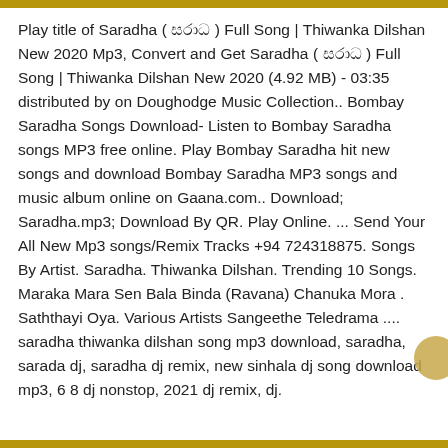Play title of Saradha ( සරාධ ) Full Song | Thiwanka Dilshan New 2020 Mp3, Convert and Get Saradha ( සරාධ ) Full Song | Thiwanka Dilshan New 2020 (4.92 MB) - 03:35 distributed by on Doughodge Music Collection.. Bombay Saradha Songs Download- Listen to Bombay Saradha songs MP3 free online. Play Bombay Saradha hit new songs and download Bombay Saradha MP3 songs and music album online on Gaana.com.. Download; Saradha.mp3; Download By QR. Play Online. ... Send Your All New Mp3 songs/Remix Tracks +94 724318875. Songs By Artist. Saradha. Thiwanka Dilshan. Trending 10 Songs. Maraka Mara Sen Bala Binda (Ravana) Chanuka Mora . Saththayi Oya. Various Artists Sangeethe Teledrama .... saradha thiwanka dilshan song mp3 download, saradha, sarada dj, saradha dj remix, new sinhala dj song download mp3, 6 8 dj nonstop, 2021 dj remix, dj.